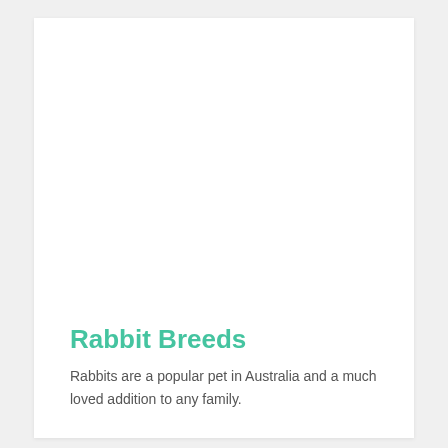Rabbit Breeds
Rabbits are a popular pet in Australia and a much loved addition to any family.